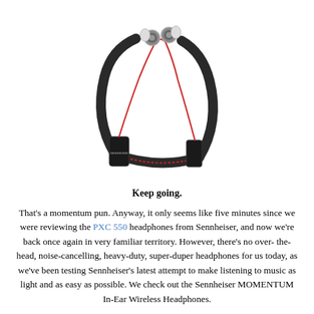[Figure (photo): Sennheiser MOMENTUM In-Ear Wireless Headphones with neckband design, black neckband with red cable connecting to metallic earbuds]
Keep going.
That's a momentum pun. Anyway, it only seems like five minutes since we were reviewing the PXC 550 headphones from Sennheiser, and now we're back once again in very familiar territory. However, there's no over-the-head, noise-cancelling, heavy-duty, super-duper headphones for us today, as we've been testing Sennheiser's latest attempt to make listening to music as light and as easy as possible. We check out the Sennheiser MOMENTUM In-Ear Wireless Headphones.